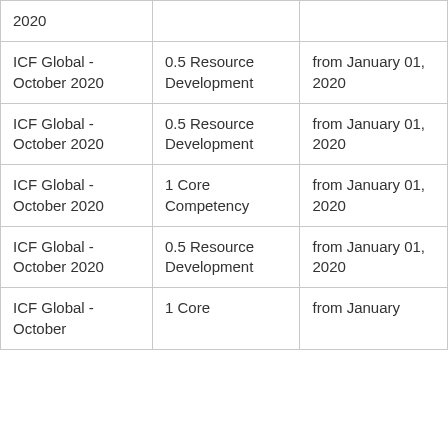| 2020 |  |  |
| ICF Global - October 2020 | 0.5 Resource Development | from January 01, 2020 |
| ICF Global - October 2020 | 0.5 Resource Development | from January 01, 2020 |
| ICF Global - October 2020 | 1 Core Competency | from January 01, 2020 |
| ICF Global - October 2020 | 0.5 Resource Development | from January 01, 2020 |
| ICF Global - October 2020 | 1 Core ... | from January ... |